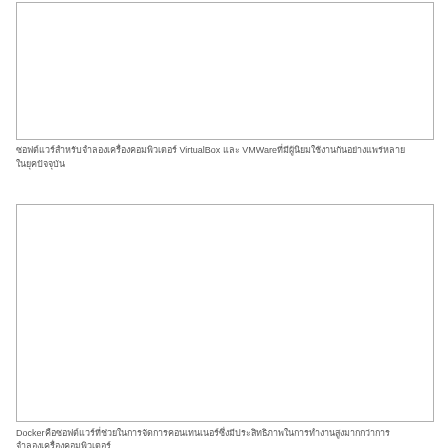[Figure (screenshot): Screenshot or image placeholder box (top), empty white rectangle with border]
ซอฟต์แวร์สำหรับจำลองเครื่องคอมพิวเตอร์ VirtualBox และ VMWare ที่มีผู้นิยมใช้งานกันอย่างแพร่หลาย
[Figure (screenshot): Screenshot or image placeholder box (bottom), empty white rectangle with border]
Dockerคือซอฟต์แวร์ที่ช่วยในการจัดการคอนเทนเนอร์ซึ่งมีประสิทธิภาพในการทำงานสูง